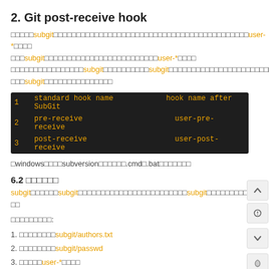2. Git post-receive hook
□□□□□subgit□□□□□□□□□□□□□□□□□□□□□□□□□□□□□□□□□□□□□□□□□user-*□□□□
□□□subgit□□□□□□□□□□□□□□□□□□□□□□□□□user-*□□□□
□□□□□□□□□□□□□□□□subgit□□□□□□□□□□subgit□□□□□□□□□□□□□□□□□□□□□□□□□subgit□□□□□□□□□□□□□□□□□
[Figure (screenshot): Code block showing standard hook name vs hook name after SubGit table with rows: 1 header, 2 pre-receive/user-pre-receive, 3 post-receive/user-post-receive]
□windows□□□□subversion□□□□□□.cmd□.bat□□□□□□□
6.2 □□□□□□
subgit□□□□□□subgit□□□□□□□□□□□□□□□□□□□□□□□□subgit□□□□□□□□□□□□□
□□□□□□□□□:
1. □□□□□□□□subgit/authors.txt
2. □□□□□□□□subgit/passwd
3. □□□□□user-*□□□□